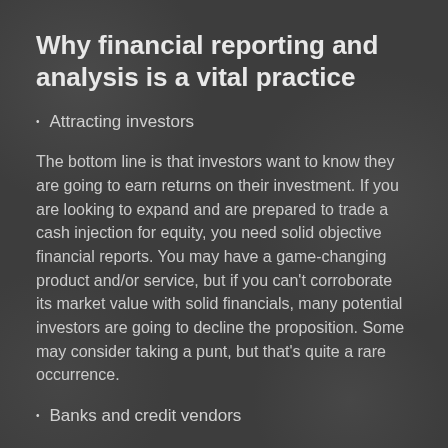Why financial reporting and analysis is a vital practice
Attracting investors
The bottom line is that investors want to know they are going to earn returns on their investment. If you are looking to expand and are prepared to trade a cash injection for equity, you need solid objective financial reports. You may have a game-changing product and/or service, but if you can't corroborate its market value with solid financials, many potential investors are going to decline the proposition. Some may consider taking a punt, but that's quite a rare occurrence.
Banks and credit vendors